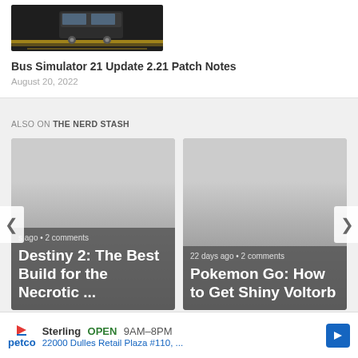[Figure (photo): Screenshot of a bus in a depot/parking lot from Bus Simulator 21 video game]
Bus Simulator 21 Update 2.21 Patch Notes
August 20, 2022
ALSO ON THE NERD STASH
[Figure (screenshot): Article card for Destiny 2: The Best Build for the Necrotic ... with text 's ago • 2 comments']
[Figure (screenshot): Article card for Pokemon Go: How to Get Shiny Voltorb with text '22 days ago • 2 comments']
Sterling OPEN 9AM–8PM
22000 Dulles Retail Plaza #110, ...